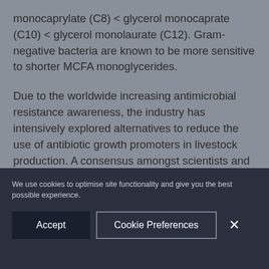monocaprylate (C8) < glycerol monocaprate (C10) < glycerol monolaurate (C12). Gram-negative bacteria are known to be more sensitive to shorter MCFA monoglycerides.
Due to the worldwide increasing antimicrobial resistance awareness, the industry has intensively explored alternatives to reduce the use of antibiotic growth promoters in livestock production. A consensus amongst scientists and veterinarians exists in the fact that a multifaceted
We use cookies to optimise site functionality and give you the best possible experience.